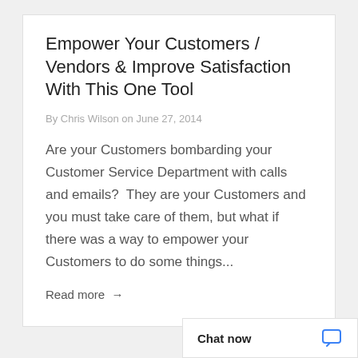Empower Your Customers / Vendors & Improve Satisfaction With This One Tool
By Chris Wilson on June 27, 2014
Are your Customers bombarding your Customer Service Department with calls and emails?  They are your Customers and you must take care of them, but what if there was a way to empower your Customers to do some things...
Read more →
Chat now